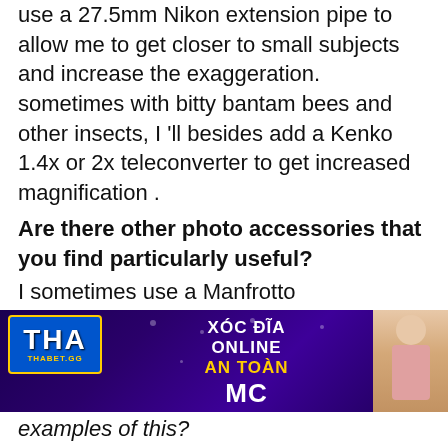use a 27.5mm Nikon extension pipe to allow me to get closer to small subjects and increase the exaggeration. sometimes with bitty bantam bees and other insects, I 'll besides add a Kenko 1.4x or 2x teleconverter to get increased magnification .
Are there other photo accessories that you find particularly useful?
I sometimes use a Manfrotto MK190XPRO4-3W Aluminum Tripod with 3-Way Pan/Tilt Head, but not that often, because my subjects are so mobile it 's frequently not very useful .
You mentioned that the Meet Your Neighbours project has resulted in
[Figure (other): Advertisement banner for THABET.GG showing 'XOC DIA ONLINE AN TOAN' and 'MC TRUC TUYEN UY TIN' with logo and woman image]
examples of this?